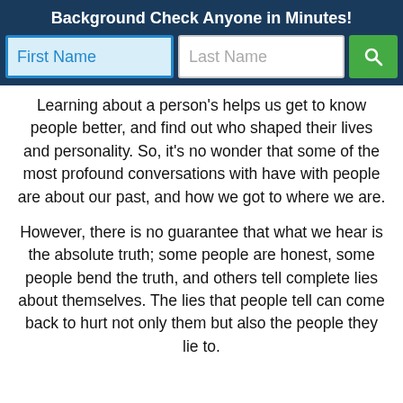Background Check Anyone in Minutes!
[Figure (screenshot): Search form with First Name and Last Name input fields and a green search button]
Learning about a person's helps us get to know people better, and find out who shaped their lives and personality. So, it's no wonder that some of the most profound conversations with have with people are about our past, and how we got to where we are.
However, there is no guarantee that what we hear is the absolute truth; some people are honest, some people bend the truth, and others tell complete lies about themselves. The lies that people tell can come back to hurt not only them but also the people they lie to.